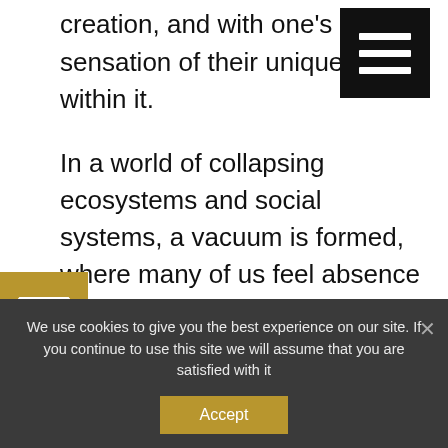creation, and with one's sensation of their unique place within it.
In a world of collapsing ecosystems and social systems, a vacuum is formed, where many of us feel absence of meaning and separation. Evil – the will to receive to oneself – the Ego, leads humanity to divisiveness, wars, a tear within the social and family fabric, and isolation of each individual from the feeling of their designation.
We use cookies to give you the best experience on our site. If you continue to use this site we will assume that you are satisfied with it
Accept